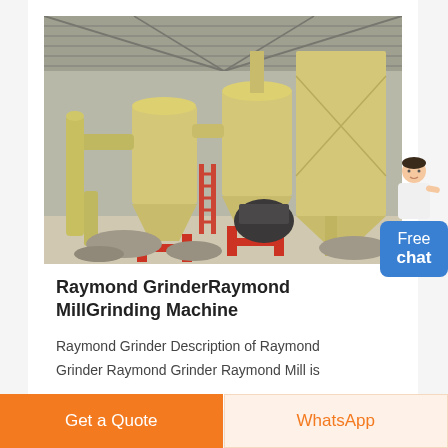[Figure (photo): Industrial Raymond Grinder / Raymond Mill Grinding Machine inside a factory building with yellow cyclone dust collectors and storage silos on red metal frames, concrete floor, corrugated metal roof.]
Raymond GrinderRaymond MillGrinding Machine
Raymond Grinder Description of Raymond Grinder Raymond Grinder Raymond Mill is
Free chat
Get a Quote
WhatsApp